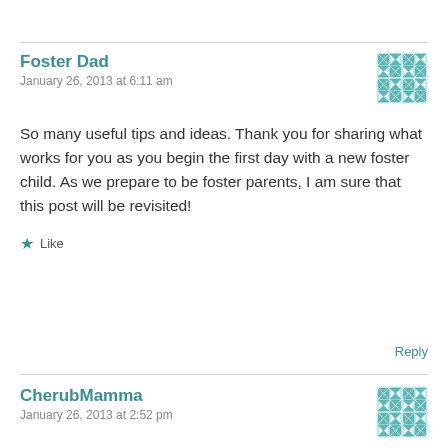Foster Dad
January 26, 2013 at 6:11 am
So many useful tips and ideas. Thank you for sharing what works for you as you begin the first day with a new foster child. As we prepare to be foster parents, I am sure that this post will be revisited!
Like
Reply
CherubMamma
January 26, 2013 at 2:52 pm